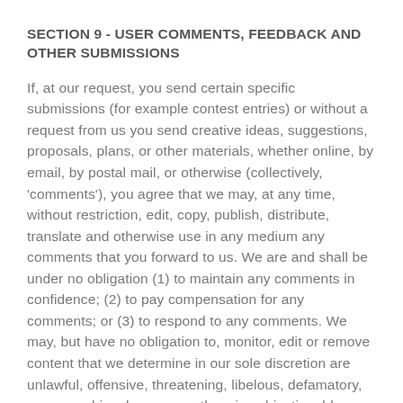SECTION 9 - USER COMMENTS, FEEDBACK AND OTHER SUBMISSIONS
If, at our request, you send certain specific submissions (for example contest entries) or without a request from us you send creative ideas, suggestions, proposals, plans, or other materials, whether online, by email, by postal mail, or otherwise (collectively, 'comments'), you agree that we may, at any time, without restriction, edit, copy, publish, distribute, translate and otherwise use in any medium any comments that you forward to us. We are and shall be under no obligation (1) to maintain any comments in confidence; (2) to pay compensation for any comments; or (3) to respond to any comments. We may, but have no obligation to, monitor, edit or remove content that we determine in our sole discretion are unlawful, offensive, threatening, libelous, defamatory, pornographic, obscene or otherwise objectionable or violates any party's intellectual